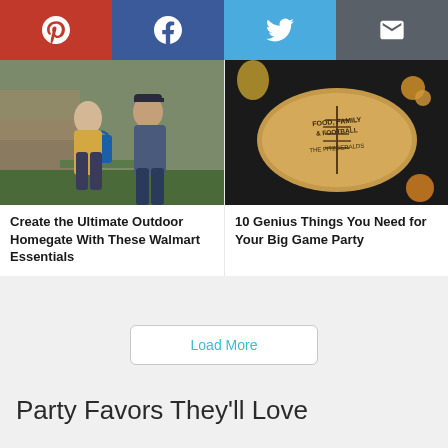[Figure (infographic): Social share bar with Pinterest (red), Facebook (dark blue), Twitter (light blue), and Email (gray) buttons with white icons]
[Figure (photo): A woman and man standing outdoors near a table, woman holds a blue Walmart bag, background shows rustic building]
Create the Ultimate Outdoor Homegate With These Walmart Essentials
[Figure (photo): Overhead view of a football-shaped wooden cutting board engraved with 'Food, Family & Football' and 'The Fitzgeralds' on a dark surface with food]
10 Genius Things You Need for Your Big Game Party
Load More
Party Favors They'll Love